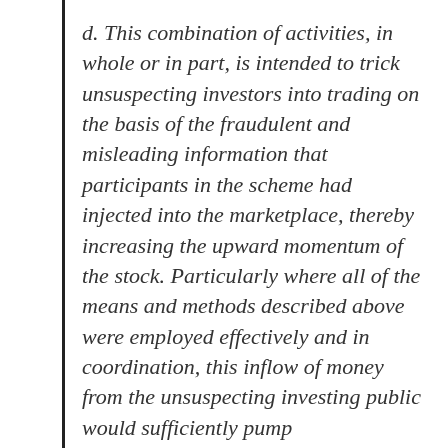d. This combination of activities, in whole or in part, is intended to trick unsuspecting investors into trading on the basis of the fraudulent and misleading information that participants in the scheme had injected into the marketplace, thereby increasing the upward momentum of the stock. Particularly where all of the means and methods described above were employed effectively and in coordination, this inflow of money from the unsuspecting investing public would sufficiently pump